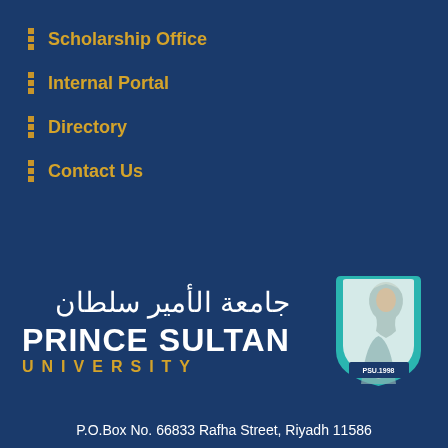Scholarship Office
Internal Portal
Directory
Contact Us
[Figure (logo): Prince Sultan University logo with Arabic text جامعة الأمير سلطان, English text PRINCE SULTAN UNIVERSITY, and emblem showing a figure in traditional Saudi attire with PSU.1998 text, teal and white colors]
P.O.Box No. 66833 Rafha Street, Riyadh 11586